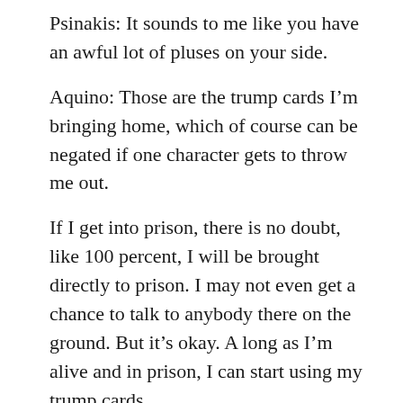Psinakis: It sounds to me like you have an awful lot of pluses on your side.
Aquino: Those are the trump cards I'm bringing home, which of course can be negated if one character gets to throw me out.
If I get into prison, there is no doubt, like 100 percent, I will be brought directly to prison. I may not even get a chance to talk to anybody there on the ground. But it's okay. A long as I'm alive and in prison, I can start using my trump cards.
I will try to hold out for a meeting with Marcos. Now that's he's about to meet his Maker, I am almost confident that I can talk to him and sell him